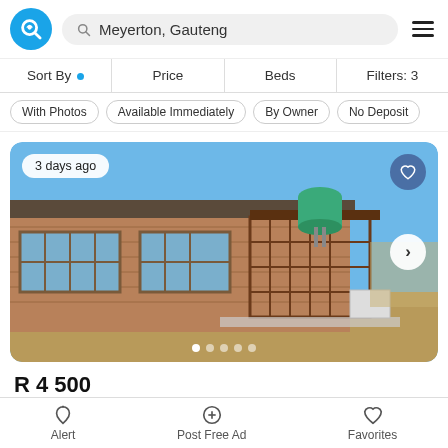Meyerton, Gauteng
Sort By · Price · Beds · Filters: 3
With Photos · Available Immediately · By Owner · No Deposit
[Figure (photo): Exterior photo of a brick farmhouse/cottage with metal roof, security gate, green water tank on roof, sparse vegetation, blue sky. Badge: '3 days ago'. Navigation arrow on right.]
R 4 500
36 4th Road, Meyerton South, Meyerton, Gauteng
Alert · Post Free Ad · Favorites